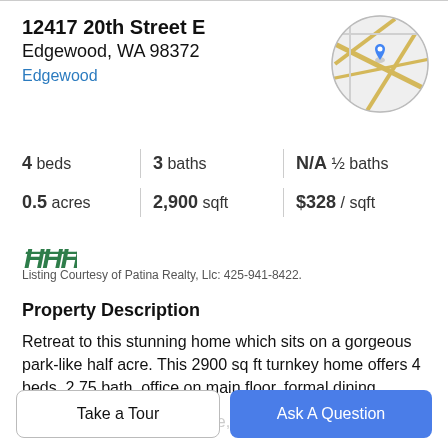12417 20th Street E
Edgewood, WA 98372
Edgewood
[Figure (map): Circular map thumbnail showing streets with a blue location pin marker]
4 beds   3 baths   N/A ½ baths
0.5 acres   2,900 sqft   $328 / sqft
[Figure (logo): NWMLS logo in green italic font]
Listing Courtesy of Patina Realty, Llc: 425-941-8422.
Property Description
Retreat to this stunning home which sits on a gorgeous park-like half acre. This 2900 sq ft turnkey home offers 4 beds, 2.75 bath, office on main floor, formal dining
w/wainscoting, gas fire place, theatre/bonus room, &
Take a Tour
Ask A Question